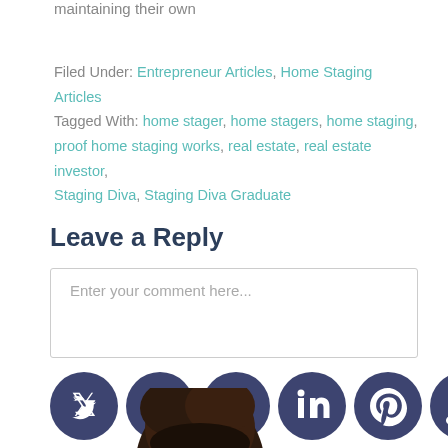maintaining their own
Filed Under: Entrepreneur Articles, Home Staging Articles Tagged With: home stager, home stagers, home staging, proof home staging works, real estate, real estate investor, Staging Diva, Staging Diva Graduate
Leave a Reply
Enter your comment here...
[Figure (infographic): Row of 6 social media icons: Twitter, Facebook, LinkedIn, Pinterest, RSS, Instagram — all dark navy/indigo circular icons]
[Figure (photo): Head and shoulders of a person with dark hair, partially cropped]